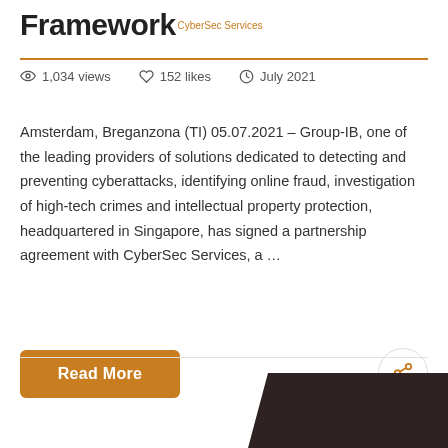Framework CyberSec Services
1,034 views   152 likes   July 2021
Amsterdam, Breganzona (TI) 05.07.2021 – Group-IB, one of the leading providers of solutions dedicated to detecting and preventing cyberattacks, identifying online fraud, investigation of high-tech crimes and intellectual property protection, headquartered in Singapore, has signed a partnership agreement with CyberSec Services, a ...
Read More